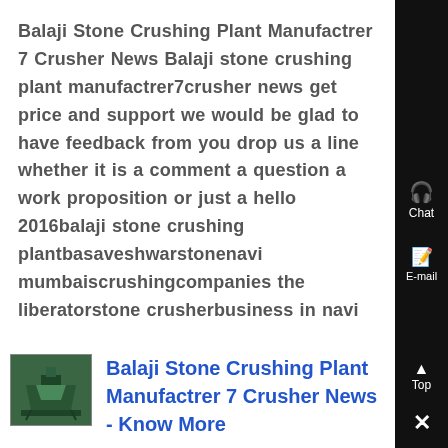Balaji Stone Crushing Plant Manufactrer 7 Crusher News Balaji stone crushing plant manufactrer7crusher news get price and support we would be glad to have feedback from you drop us a line whether it is a comment a question a work proposition or just a hello 2016balaji stone crushing plantbasaveshwarstonenavi mumbaiscrushingcompanies the liberatorstone crusherbusiness in navi
[Figure (photo): Thumbnail photo of a green stone crushing machine/plant]
Balaji Stone Crushing Plant Manufactrer 7 Crusher News - Know More